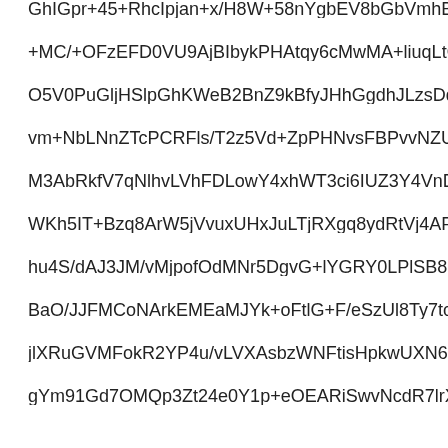GhIGpr+45+RhcIpjan+x/H8W+58nYgbEV8bGbVmhBNhtZyHcgb
+MC/+OFzEFD0VU9AjBIbykPHAtqy6cMwMA+liuqLtOklbv9/q
O5V0PuGljHSlpGhKWeB2BnZ9kBfyJHhGgdhJLzsDd4IniMEv
vm+NbLNnZTcPCRFls/T2z5Vd+ZpPHNvsFBPvvNZUldA/Pgl7
M3AbRkfV7qNlhvLVhFDLowY4xhWT3ci6IUZ3Y4VnDSuQFvs
WKh5IT+Bzq8ArW5jVvuxUHxJuLTjRXgq8ydRtVj4APlojdgu43
hu4S/dAJ3JM/vMjpofOdMNr5DgvG+lYGRY0LPlSB8UvxuNLY
BaO/JJFMCoNArkEMEaMJYk+oFtlG+F/eSzUl8Ty7tcdVau7Js
jlXRuGVMFokR2YP4u/vLVXAsbzWNFtisHpkwUXN6Rt0QfVC
gYm91Gd7OMQp3Zt24e0Y1p+eOEARiSwvNcdR7lrX+ZWYp